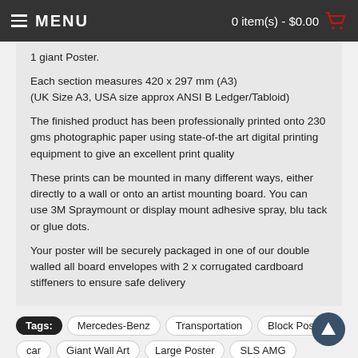MENU   0 item(s) - $0.00
1 giant Poster.
Each section measures 420 x 297 mm (A3)
(UK Size A3, USA size approx ANSI B Ledger/Tabloid)
The finished product has been professionally printed onto 230 gms photographic paper using state-of-the art digital printing equipment to give an excellent print quality
These prints can be mounted in many different ways, either directly to a wall or onto an artist mounting board. You can use 3M Spraymount or display mount adhesive spray, blu tack or glue dots.
Your poster will be securely packaged in one of our double walled all board envelopes with 2 x corrugated cardboard stiffeners to ensure safe delivery
Tags: Mercedes-Benz  Transportation  Block Poster  car  Giant Wall Art  Large Poster  SLS AMG  Mercedes Benz  SLC 300